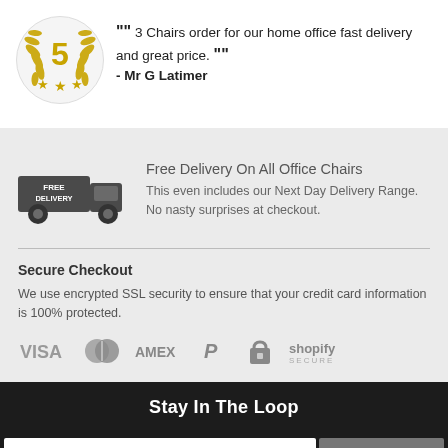[Figure (illustration): Gold star rating badge with number 5 and laurel wreath, three gold stars below]
““ 3 Chairs order for our home office fast delivery and great price. ””
- Mr G Latimer
[Figure (illustration): Free Delivery truck icon with text FREE DELIVERY in dark grey]
Free Delivery On All Office Chairs
This even includes our Next Day Delivery Range. No nasty surprises at checkout.
Secure Checkout
We use encrypted SSL security to ensure that your credit card information is 100% protected.
[Figure (illustration): Payment icons: VISA, Mastercard, AMEX, PayPal, padlock, Shopify Secure]
Stay In The Loop